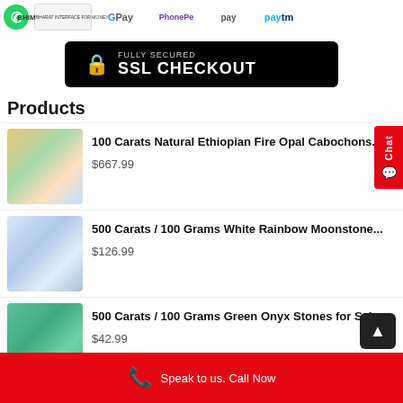[Figure (logo): Payment method logos: WhatsApp, BHIM, Google Pay, PhonePe, pay, Paytm]
[Figure (infographic): Fully Secured SSL Checkout badge - black background with lock icon]
Products
[Figure (photo): 100 Carats Natural Ethiopian Fire Opal Cabochons - colorful orange/green gemstones]
100 Carats Natural Ethiopian Fire Opal Cabochons...
$667.99
[Figure (photo): 500 Carats / 100 Grams White Rainbow Moonstone - white/blue shimmery stones]
500 Carats / 100 Grams White Rainbow Moonstone...
$126.99
[Figure (photo): 500 Carats / 100 Grams Green Onyx Stones for Sale - green polished oval stones]
500 Carats / 100 Grams Green Onyx Stones for Sal...
$42.99
Speak to us. Call Now